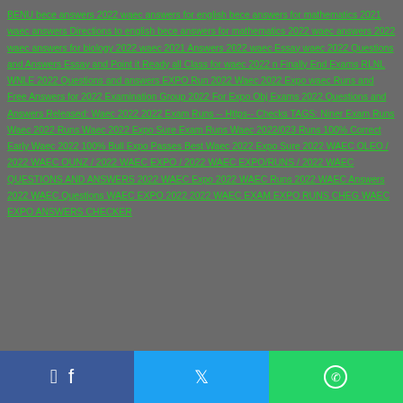BENU bece answers 2022 waec answers for english bece answers for mathematics 2021 waec answers Directions to english bece answers for mathematics 2022 waec answers 2022 waec answers for biology 2022 waec 2021 Answers 2022 waec Essay waec 2022 Questions and Answers Essay and Point it Ready all Class for waec 2022 n Finally End Exams RLNL WNLE 2022 Questions and answers EXPO Run 2022 Waec 2022 Expo waec Runs and Free Answers for 2022 Examination Group 2022 For Expo Obj Exams 2022 Questions and Answers Released: Waec 2022 2022 Exam Runs -- Https-- Checks TAGS: Niner Exam Runs Waec 2022 Runs Waec 2022 Expo Sure Exam Runs Waec 2022/023 Runs 100% Correct Early Waec 2022 100% Bull Expo Passes Best Waec 2022 Expo Sure 2022 WAEC OLEO / 2022 WAEC OUNZ / 2022 WAEC EXPO / 2022 WAEC EXPO/RUNS / 2022 WAEC QUESTIONS AND ANSWERS 2022 WAEC Expo 2022 WAEC Runs 2022 WAEC Answers 2022 WAEC Questions WAEC EXPO 2022 2022 WAEC EXAM EXPO RUNS CHEG WAEC EXPO ANSWERS CHECKER
[Figure (other): Social media share buttons: Facebook (blue), Twitter (light blue), WhatsApp (green)]